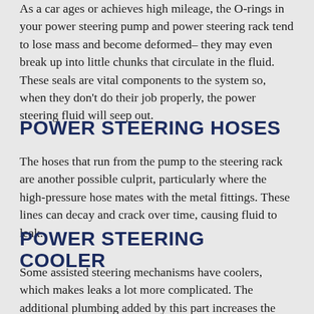As a car ages or achieves high mileage, the O-rings in your power steering pump and power steering rack tend to lose mass and become deformed– they may even break up into little chunks that circulate in the fluid. These seals are vital components to the system so, when they don't do their job properly, the power steering fluid will seep out.
POWER STEERING HOSES
The hoses that run from the pump to the steering rack are another possible culprit, particularly where the high-pressure hose mates with the metal fittings. These lines can decay and crack over time, causing fluid to leak.
POWER STEERING COOLER
Some assisted steering mechanisms have coolers, which makes leaks a lot more complicated. The additional plumbing added by this part increases the potential for leaks and, at times, makes leaks harder to locate. These coolers are often